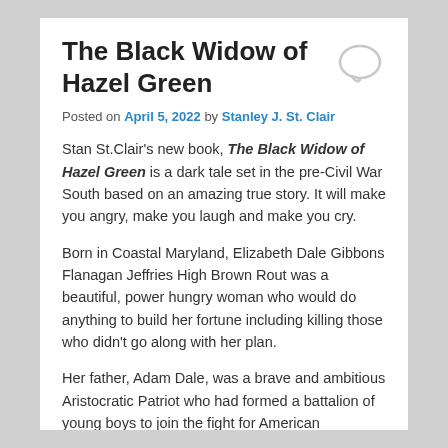The Black Widow of Hazel Green
Posted on April 5, 2022 by Stanley J. St. Clair
Stan St.Clair's new book, The Black Widow of Hazel Green is a dark tale set in the pre-Civil War South based on an amazing true story. It will make you angry, make you laugh and make you cry.
Born in Coastal Maryland, Elizabeth Dale Gibbons Flanagan Jeffries High Brown Rout was a beautiful, power hungry woman who would do anything to build her fortune including killing those who didn't go along with her plan.
Her father, Adam Dale, was a brave and ambitious Aristocratic Patriot who had formed a battalion of young boys to join the fight for American Independence at age 14.